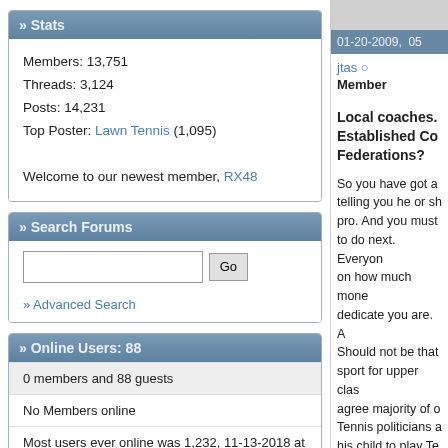» Stats
Members: 13,751
Threads: 3,124
Posts: 14,231
Top Poster: Lawn Tennis (1,095)

Welcome to our newest member, RX48
» Search Forums
» Advanced Search
» Online Users: 88
0 members and 88 guests
No Members online
Most users ever online was 1,232, 11-13-2018 at 12:29 PM.
01-20-2009,  05
jtas ○
Member
Local coaches. Established Co Federations?
So you have got a telling you he or sh pro. And you must to do next. Everyon on how much mone dedicate you are. A Should not be that sport for upper clas agree majority of o Tennis politicians a his child to play Te Nothing can be fare statement . From d got 85 % come fro even worse. So wa